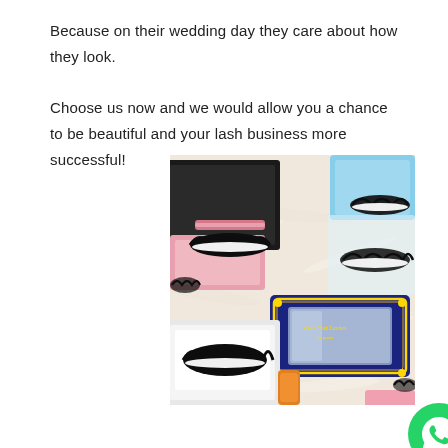Because on their wedding day they care about how they look.

Choose us now and we would allow you a chance to be beautiful and your lash business more successful!
[Figure (photo): Product photo showing several false eyelash boxes and open cases with fluffy mink lashes arranged on a white fluffy background. Visible boxes include a black and pink sliding box, a navy blue rectangular box with gold detailing and a mirror window, a white open tray box with lashes, and a light blue box in the background.]